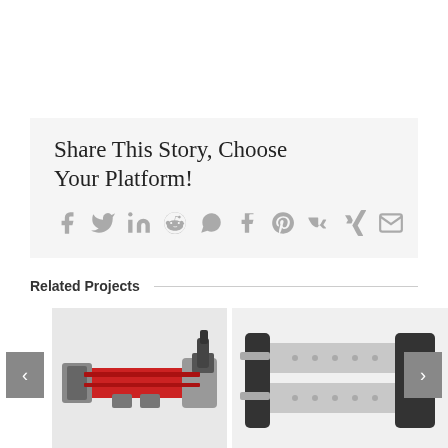Share This Story, Choose Your Platform!
[Figure (infographic): Social media sharing icons: Facebook, Twitter, LinkedIn, Reddit, WhatsApp, Tumblr, Pinterest, VK, Xing, Email]
Related Projects
[Figure (photo): Industrial linear actuator with red body and black motor mount, angled view]
[Figure (photo): Dual-rod pneumatic cylinder with silver/black body, front view]